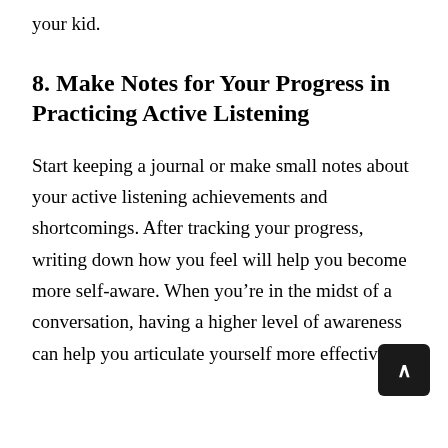your kid.
8. Make Notes for Your Progress in Practicing Active Listening
Start keeping a journal or make small notes about your active listening achievements and shortcomings. After tracking your progress, writing down how you feel will help you become more self-aware. When you’re in the midst of a conversation, having a higher level of awareness can help you articulate yourself more effectively